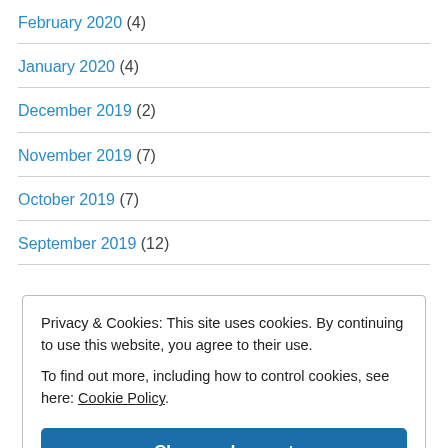February 2020 (4)
January 2020 (4)
December 2019 (2)
November 2019 (7)
October 2019 (7)
September 2019 (12)
Privacy & Cookies: This site uses cookies. By continuing to use this website, you agree to their use. To find out more, including how to control cookies, see here: Cookie Policy
Close and accept